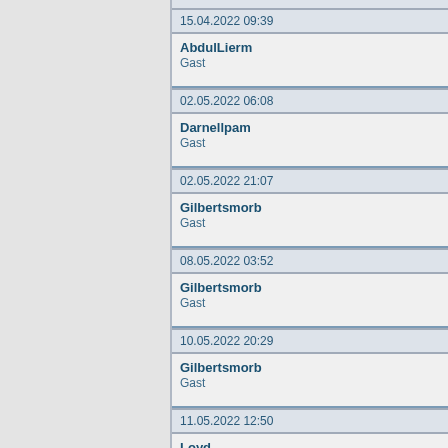15.04.2022 09:39
AbdulLierm
Gast
02.05.2022 06:08
Darnellpam
Gast
02.05.2022 21:07
Gilbertsmorb
Gast
08.05.2022 03:52
Gilbertsmorb
Gast
10.05.2022 20:29
Gilbertsmorb
Gast
11.05.2022 12:50
Loyd
Gast